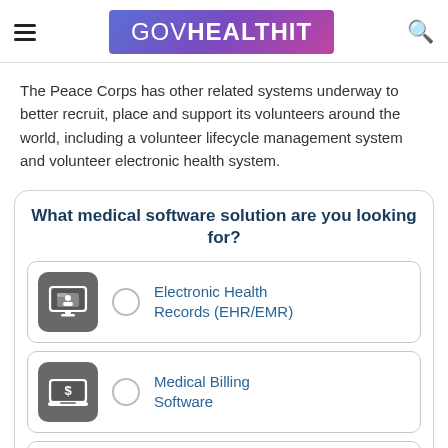GOVHEALTHIT
The Peace Corps has other related systems underway to better recruit, place and support its volunteers around the world, including a volunteer lifecycle management system and volunteer electronic health system.
What medical software solution are you looking for?
Electronic Health Records (EHR/EMR)
Medical Billing Software